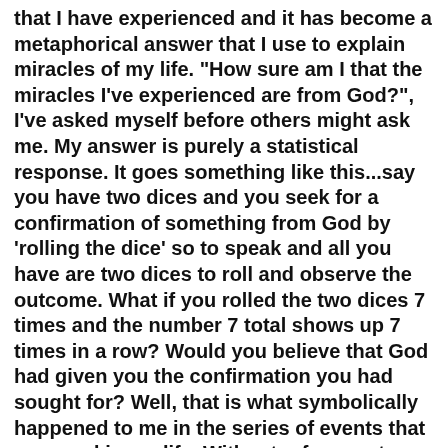that I have experienced and it has become a metaphorical answer that I use to explain miracles of my life. "How sure am I that the miracles I've experienced are from God?",  I've asked myself before others might ask me. My answer is purely a statistical response. It goes something like this...say you have two dices and you seek for a confirmation of something from God by 'rolling the dice' so to speak and all you have are two dices to roll and observe the outcome. What if you rolled the two dices 7 times and the number 7 total shows up 7 times in a row? Would you believe that God had given you the confirmation you had sought for? Well, that is what symbolically happened to me in the series of events that occurred in my life. Without reference to divinity or any religion, I have used this simple metaphor in place of orally taking time to share the details of what actually happened which I believe had a divine intervention. Full-length details are of course shared in my spiritual blog post, starting from here, where one can read a true and detailed account of my spiritual life as well as my thoughts, anytime anywhere at their own pace without fear or favor. I